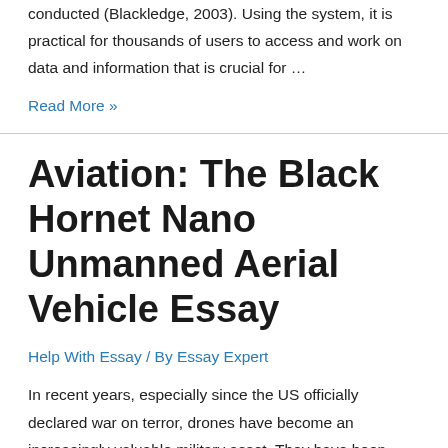conducted (Blackledge, 2003). Using the system, it is practical for thousands of users to access and work on data and information that is crucial for …
Read More »
Aviation: The Black Hornet Nano Unmanned Aerial Vehicle Essay
Help With Essay / By Essay Expert
In recent years, especially since the US officially declared war on terror, drones have become an increasingly valuable military asset. They have been used for both surveillance and combat. Scanning a warzone from a distance to gain prior knowledge about a warzone is indeed a significant tactical advantage (Brooke-Holland, 2013). Over the years, since the